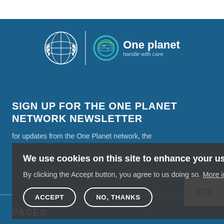[Figure (logo): UN emblem logo and One Planet handle with care logo on blue background]
SIGN UP FOR THE ONE PLANET NETWORK NEWSLETTER
for updates from the One Planet network, the
We use cookies on this site to enhance your user experience
By clicking the Accept button, you agree to us doing so. More info
ACCEPT
NO, THANKS
PAGES